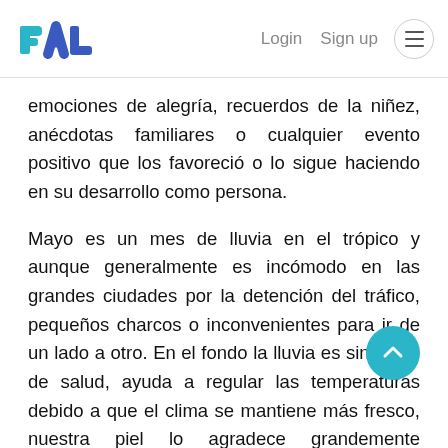PAL — Login  Sign up
emociones de alegría, recuerdos de la niñez, anécdotas familiares o cualquier evento positivo que los favoreció o lo sigue haciendo en su desarrollo como persona.
Mayo es un mes de lluvia en el trópico y aunque generalmente es incómodo en las grandes ciudades por la detención del tráfico, pequeños charcos o inconvenientes para ir de un lado a otro. En el fondo la lluvia es sinónimo de salud, ayuda a regular las temperaturas debido a que el clima se mantiene más fresco, nuestra piel lo agradece grandemente luego de temporadas expuestos al sol, el agua benefice nuestro mayor órgano, la piel se hidrata y se mantiene más suave, las lluvias también